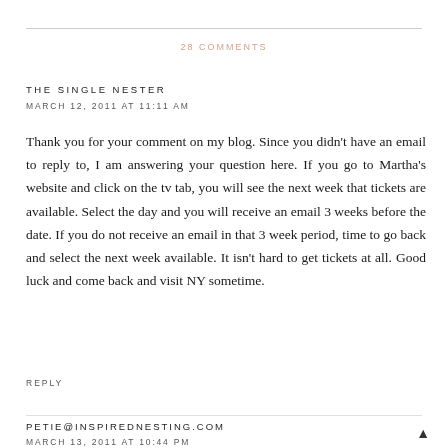28 COMMENTS
THE SINGLE NESTER
MARCH 12, 2011 AT 11:11 AM
Thank you for your comment on my blog. Since you didn't have an email to reply to, I am answering your question here. If you go to Martha's website and click on the tv tab, you will see the next week that tickets are available. Select the day and you will receive an email 3 weeks before the date. If you do not receive an email in that 3 week period, time to go back and select the next week available. It isn't hard to get tickets at all. Good luck and come back and visit NY sometime.
REPLY
PETIE@INSPIREDNESTING.COM
MARCH 13, 2011 AT 10:44 PM